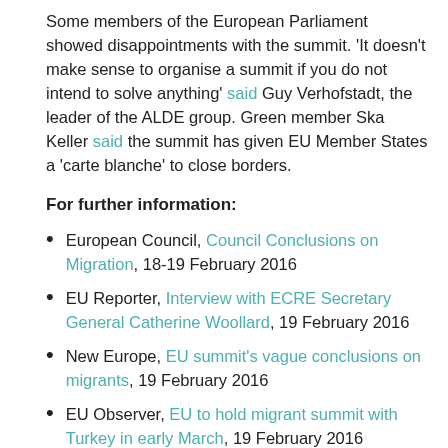Some members of the European Parliament showed disappointments with the summit. 'It doesn't make sense to organise a summit if you do not intend to solve anything' said Guy Verhofstadt, the leader of the ALDE group. Green member Ska Keller said the summit has given EU Member States a 'carte blanche' to close borders.
For further information:
European Council, Council Conclusions on Migration, 18-19 February 2016
EU Reporter, Interview with ECRE Secretary General Catherine Woollard, 19 February 2016
New Europe, EU summit's vague conclusions on migrants, 19 February 2016
EU Observer, EU to hold migrant summit with Turkey in early March, 19 February 2016
ECRE statement, ECRE strongly opposes legitimising...